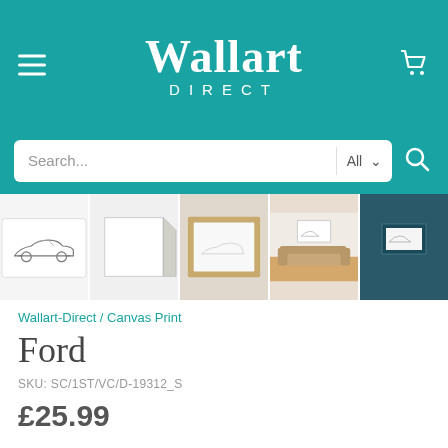[Figure (logo): Wallart Direct logo with hamburger menu and cart icon on teal background]
[Figure (screenshot): Search bar with All dropdown on teal background]
[Figure (photo): Gallery strip showing 5 product images of Ford canvas prints]
Wallart-Direct / Canvas Print
Ford
SKU: SC/1ST/VC/D-19312_S
£25.99
Size